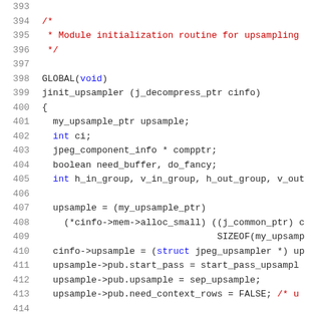[Figure (screenshot): Source code listing showing C code for jinit_upsampler function, lines 393-414, with syntax highlighting: line numbers in gray, comments in red, keywords in blue, function/variable names in dark gray.]